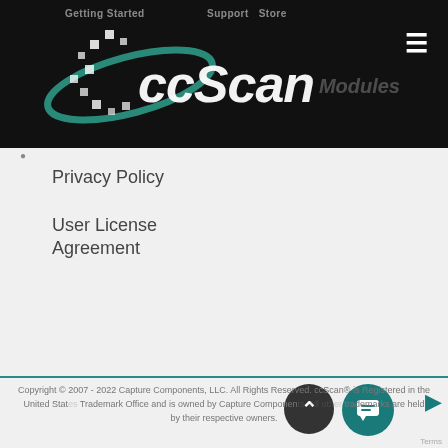[Figure (logo): ccScan logo with stylized swoosh and pixel/dot pattern on black background header]
Privacy Policy
User License Agreement
[Figure (other): Teal 'We're here to help!' chat button overlay]
Copyright © 2007 - 2022 Capture Components, LLC. All Rights Reserved. ccScan® is Registered in the United States Trademark Office and is owned by Capture Components. All other trademarks are held by their respective owners.